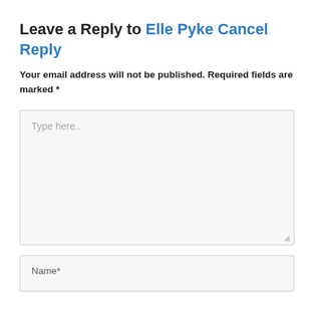Leave a Reply to Elle Pyke Cancel Reply
Your email address will not be published. Required fields are marked *
[Figure (screenshot): Comment text area input field with placeholder text 'Type here..']
[Figure (screenshot): Name input field with label 'Name*']